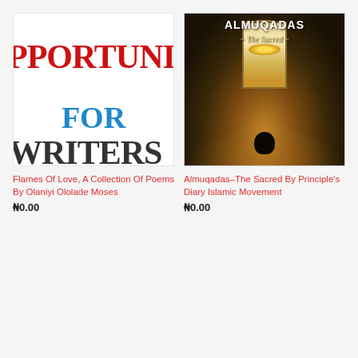[Figure (illustration): Book cover showing partial text 'PPORTUNI FOR WRITERS' in red, blue, and dark serif font on white background]
Flames Of Love, A Collection Of Poems By Olaniyi Ololade Moses
₦0.00
[Figure (photo): Book cover of Almuqadas – The Sacred, showing a person in silhouette sitting in prayer inside a dimly lit mosque with a glowing window and chandelier overhead. Text: ALMUQADAS ~ The Sacred ~]
Almuqadas–The Sacred By Principle's Diary Islamic Movement
₦0.00